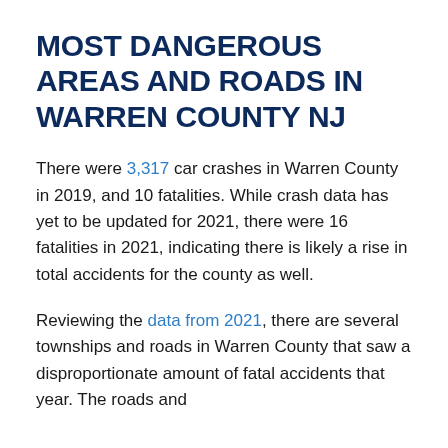MOST DANGEROUS AREAS AND ROADS IN WARREN COUNTY NJ
There were 3,317 car crashes in Warren County in 2019, and 10 fatalities. While crash data has yet to be updated for 2021, there were 16 fatalities in 2021, indicating there is likely a rise in total accidents for the county as well.
Reviewing the data from 2021, there are several townships and roads in Warren County that saw a disproportionate amount of fatal accidents that year. The roads and